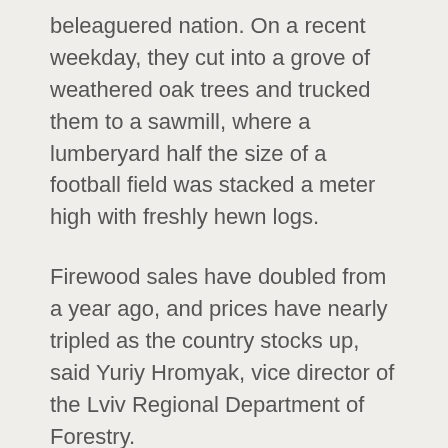beleaguered nation. On a recent weekday, they cut into a grove of weathered oak trees and trucked them to a sawmill, where a lumberyard half the size of a football field was stacked a meter high with freshly hewn logs.
Firewood sales have doubled from a year ago, and prices have nearly tripled as the country stocks up, said Yuriy Hromyak, vice director of the Lviv Regional Department of Forestry.
Even the forest isn't sheltered from Russian attacks, he added. Ukrainian forces recently shot down a rocket fired from Belarus on a nearby oil storage facility. The tanks — which were empty — weren't damaged, but the blast blew out all the windows in a wood storage warehouse and in parts of the sawmill.
"The Russians will do anything to try to destroy us," he